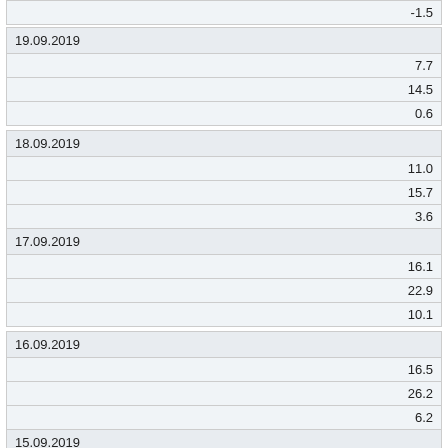| -1.5 |
| 19.09.2019 |
| 7.7 |
| 14.5 |
| 0.6 |
| 18.09.2019 |
| 11.0 |
| 15.7 |
| 3.6 |
| 17.09.2019 |
| 16.1 |
| 22.9 |
| 10.1 |
| 16.09.2019 |
| 16.5 |
| 26.2 |
| 6.2 |
| 15.09.2019 |
| 15.6 |